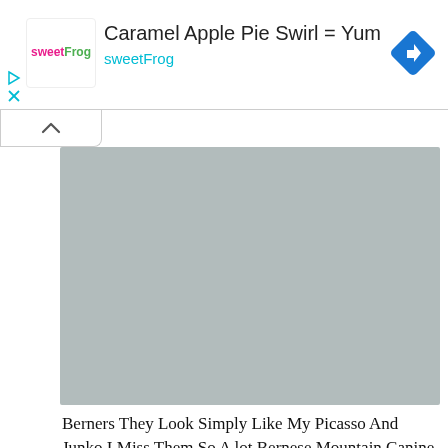[Figure (screenshot): Ad banner for sweetFrog with logo, title 'Caramel Apple Pie Swirl = Yum', subtitle 'sweetFrog', and a blue navigation diamond icon on the right. Play and close icons on the left edge.]
[Figure (photo): Gray placeholder image (main content image area)]
Berners They Look Simply Like My Picasso And Junko I Miss Them So A lot Bernese Mountain Canine Pet Bernese Canine Bernese Mountain